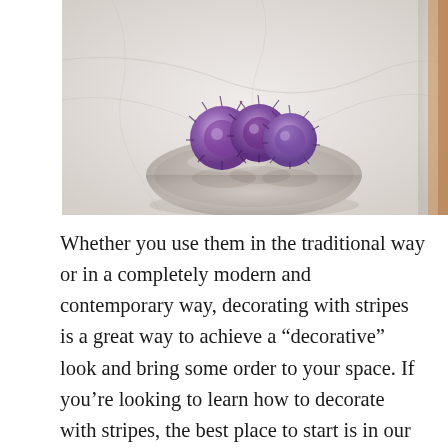[Figure (photo): Overhead photo of a light gray stone or ceramic bowl sitting on a white marble surface. The bowl contains several purple thistle or globe artichoke-like flowers. A warm-toned wooden surface is partially visible at the upper right edge of the image.]
Whether you use them in the traditional way or in a completely modern and contemporary way, decorating with stripes is a great way to achieve a “decorative” look and bring some order to your space. If you’re looking to learn how to decorate with stripes, the best place to start is in our gallery of striped room ideas – there’s plenty of visual inspiration and expert tips on how to use them to enhance your rooms. If you’re unsure about stripes, wait until you discover these